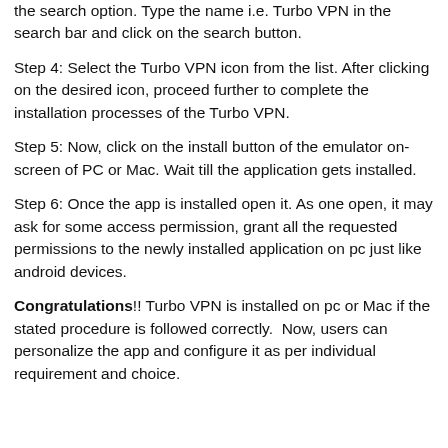the search option. Type the name i.e. Turbo VPN in the search bar and click on the search button.
Step 4: Select the Turbo VPN icon from the list. After clicking on the desired icon, proceed further to complete the installation processes of the Turbo VPN.
Step 5: Now, click on the install button of the emulator on-screen of PC or Mac. Wait till the application gets installed.
Step 6: Once the app is installed open it. As one open, it may ask for some access permission, grant all the requested permissions to the newly installed application on pc just like android devices.
Congratulations!! Turbo VPN is installed on pc or Mac if the stated procedure is followed correctly.  Now, users can personalize the app and configure it as per individual requirement and choice.